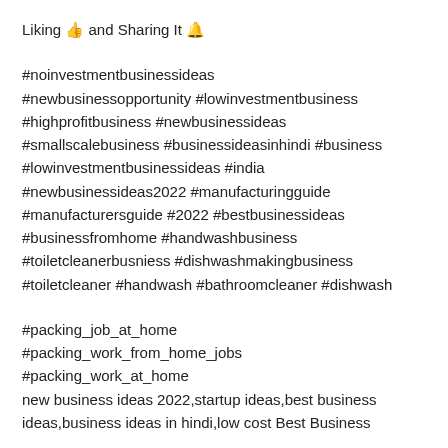Liking 👍 and Sharing It 🔔
#noinvestmentbusinessideas
#newbusinessopportunity #lowinvestmentbusiness
#highprofitbusiness #newbusinessideas
#smallscalebusiness #businessideasinhindi #business
#lowinvestmentbusinessideas #india
#newbusinessideas2022 #manufacturingguide
#manufacturersguide #2022 #bestbusinessideas
#businessfromhome #handwashbusiness
#toiletcleanerbusniess #dishwashmakingbusiness
#toiletcleaner #handwash #bathroomcleaner #dishwash
#packing_job_at_home
#packing_work_from_home_jobs
#packing_work_at_home
new business ideas 2022,startup ideas,best business ideas,business ideas in hindi,low cost Best Business
ideas,business ideas in hindi,low cost Best Business